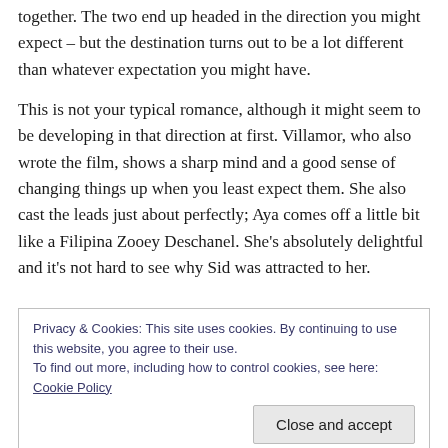together. The two end up headed in the direction you might expect – but the destination turns out to be a lot different than whatever expectation you might have.
This is not your typical romance, although it might seem to be developing in that direction at first. Villamor, who also wrote the film, shows a sharp mind and a good sense of changing things up when you least expect them. She also cast the leads just about perfectly; Aya comes off a little bit like a Filipina Zooey Deschanel. She's absolutely delightful and it's not hard to see why Sid was attracted to her.
Privacy & Cookies: This site uses cookies. By continuing to use this website, you agree to their use. To find out more, including how to control cookies, see here: Cookie Policy
Dantes still infuses him with a certain amount of likability